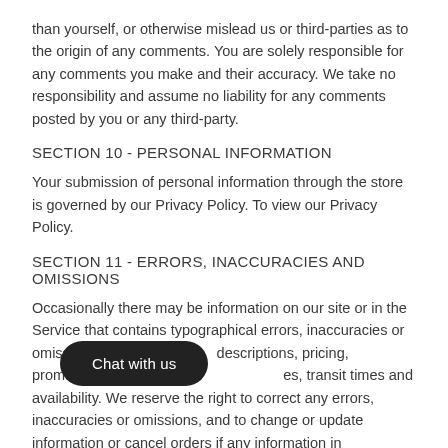than yourself, or otherwise mislead us or third-parties as to the origin of any comments. You are solely responsible for any comments you make and their accuracy. We take no responsibility and assume no liability for any comments posted by you or any third-party.
SECTION 10 - PERSONAL INFORMATION
Your submission of personal information through the store is governed by our Privacy Policy. To view our Privacy Policy.
SECTION 11 - ERRORS, INACCURACIES AND OMISSIONS
Occasionally there may be information on our site or in the Service that contains typographical errors, inaccuracies or omissions that may relate to descriptions, pricing, promotions, offers, product shipping rates, transit times and availability. We reserve the right to correct any errors, inaccuracies or omissions, and to change or update information or cancel orders if any information in